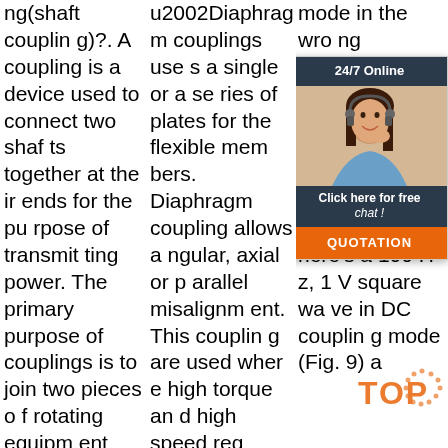What is a coupling(shaft coupling)?. A coupling is a device used to connect two shafts together at their ends for the purpose of transmitting power. The primary purpose of couplings is to join two pieces of rotating equipment while permitting some degree of misalignment or end movement
u2002Diaphragm couplings use a single or a series of plates for the flexible members. Diaphragm coupling allows angular, axial or parallel misalignment. This coupling are used where high torque and high speed required. #13 Fluid Coupling. A fluid coupling is also k
DC coupling mode in the wrong situation can hide DC components coupled t. Every can w from pon arpe versions gnal. For example, here's a 100 Hz, 1 V square wave in DC coupling mode (Fig. 9) a
[Figure (other): Customer service chat widget overlay with '24/7 Online' header, photo of woman with headset, 'Click here for free chat!' text, and orange 'QUOTATION' button. Also includes orange 'TOP' watermark with dotted circle.]